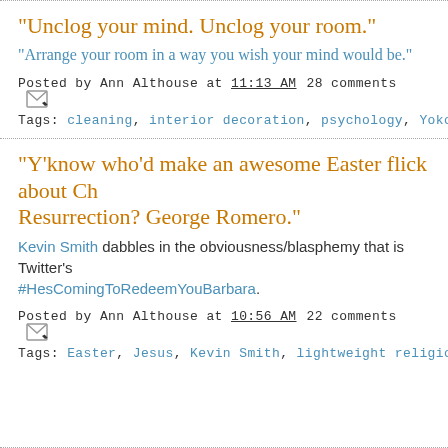"Unclog your mind. Unclog your room."
"Arrange your room in a way you wish your mind would be."
Posted by Ann Althouse at 11:13 AM  28 comments
Tags: cleaning, interior decoration, psychology, Yoko Ono
"Y'know who'd make an awesome Easter flick about Ch... Resurrection? George Romero."
Kevin Smith dabbles in the obviousness/blasphemy that is Twitter's #HesComingToRedeemYouBarbara.
Posted by Ann Althouse at 10:56 AM  22 comments
Tags: Easter, Jesus, Kevin Smith, lightweight religion, movies, Twitter, z